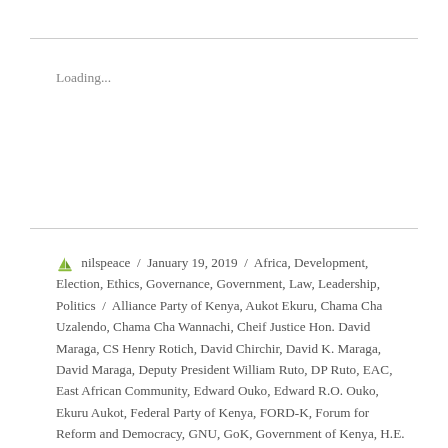Loading...
nilspeace / January 19, 2019 / Africa, Development, Election, Ethics, Governance, Government, Law, Leadership, Politics / Alliance Party of Kenya, Aukot Ekuru, Chama Cha Uzalendo, Chama Cha Wannachi, Cheif Justice Hon. David Maraga, CS Henry Rotich, David Chirchir, David K. Maraga, David Maraga, Deputy President William Ruto, DP Ruto, EAC, East African Community, Edward Ouko, Edward R.O. Ouko, Ekuru Aukot, Federal Party of Kenya, FORD-K, Forum for Reform and Democracy, GNU, GoK, Government of Kenya, H.E. Uhuru Kenyatta, H.E. William Samoei Ruto, Henry Rotich, Hon. Moses Wetangula, Hon. Raila Odinga, Hon. Stephen Kalonzo Musyoka, Hon. William Ruto, Jubilee, Jubilee Party,